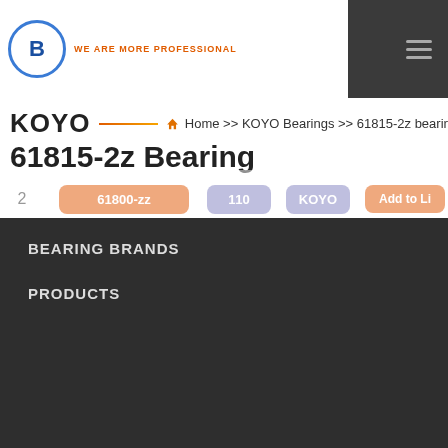B WE ARE MORE PROFESSIONAL
KOYO — Home >> KOYO Bearings >> 61815-2z bearing
61815-2z Bearing
| # | Part number | In | Brand | Your |
| --- | --- | --- | --- | --- |
| 2 | 61800-zz | 110 | KOYO | Add to List |
| 3 | 61810-2z | 185 | KOYO | Add to List |
| 4 | 61815-rz | 193 | KOYO | Add to List |
| 5 | 61817-2z | 147 | KOYO | Add to List |
| 6 | 61812-2z | 194 | KOYO | Add to List |
| 7 | 61918-2z | 185 | KOYO | Add to List |
| 8 | 61911-2z | 188 | KOYO | Add to List |
| 9 | 63/32-2z | 164 | KOYO | Add to List |
BEARING BRANDS
PRODUCTS